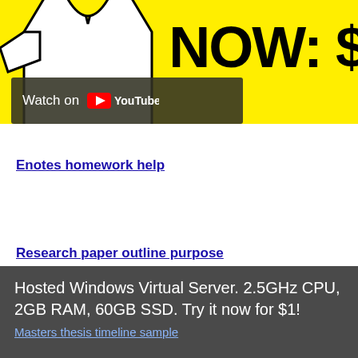[Figure (screenshot): YouTube video thumbnail with yellow background, partial white shirt/figure on left, bold text 'NOW: $' on right, and a 'Watch on YouTube' overlay button at bottom left]
Enotes homework help
Research paper outline purpose
Enotes homework help
Hosted Windows Virtual Server. 2.5GHz CPU, 2GB RAM, 60GB SSD. Try it now for $1!
Masters thesis timeline sample